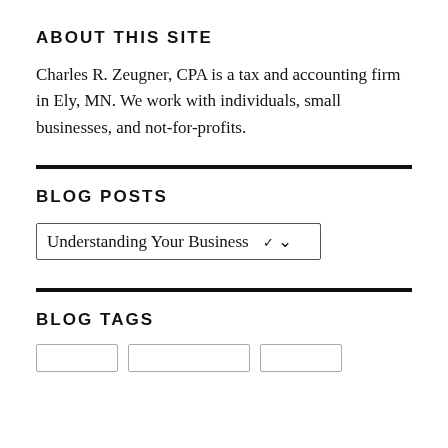ABOUT THIS SITE
Charles R. Zeugner, CPA is a tax and accounting firm in Ely, MN. We work with individuals, small businesses, and not-for-profits.
BLOG POSTS
Understanding Your Business ❯
BLOG TAGS